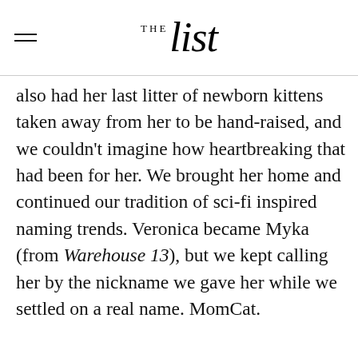THE list
also had her last litter of newborn kittens taken away from her to be hand-raised, and we couldn't imagine how heartbreaking that had been for her. We brought her home and continued our tradition of sci-fi inspired naming trends. Veronica became Myka (from Warehouse 13), but we kept calling her by the nickname we gave her while we settled on a real name. MomCat.